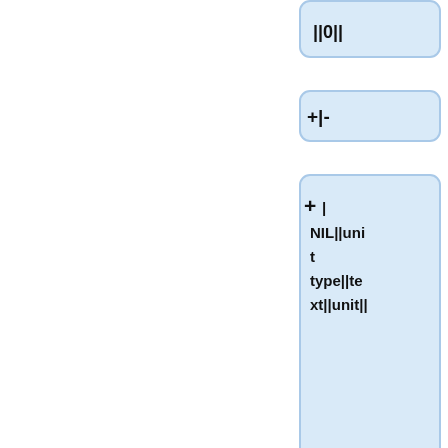[Figure (flowchart): A vertical flowchart/tree diagram showing nodes with code/data content. First node shows '||0||', second node shows '+|-', third node shows '| NIL||unit type||text||unit||' with a + expand button, fourth node shows '+|-', fifth node shows '| FRAC_AREA_TEMP_MIN||format fraction number||text||' with a + expand button. All nodes are light blue rounded rectangles with plus signs indicating expandable tree nodes.]